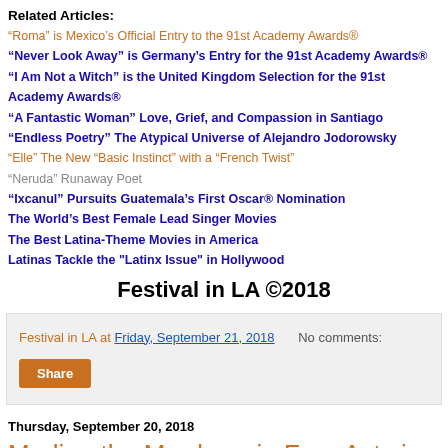Related Articles:
“Roma” is Mexico’s Official Entry to the 91st Academy Awards®
“Never Look Away” is Germany’s Entry for the 91st Academy Awards®
“I Am Not a Witch” is the United Kingdom Selection for the 91st Academy Awards®
“A Fantastic Woman” Love, Grief, and Compassion in Santiago
“Endless Poetry” The Atypical Universe of Alejandro Jodorowsky
“Elle” The New “Basic Instinct” with a “French Twist”
“Neruda” Runaway Poet
“Ixcanul” Pursuits Guatemala’s First Oscar® Nomination
The World’s Best Female Lead Singer Movies
The Best Latina-Theme Movies in America
Latinas Tackle the "Latinx Issue" in Hollywood
Festival in LA ©2018
Festival in LA at Friday, September 21, 2018   No comments:
Share
Thursday, September 20, 2018
Marlina the Murderer in Four Acts is the Indonesian Entry for the 91st